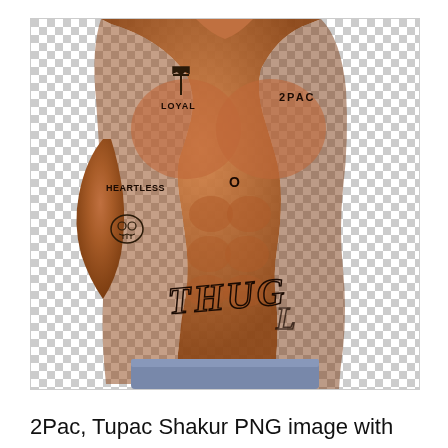[Figure (photo): A shirtless muscular man with tattoos on his chest, abdomen, and arm. Visible tattoos include '2PAC' on the upper right chest, 'LOYAL' and a cross design on the upper left chest, 'HEARTLESS' with a skull on the left arm, and 'THUG' in large letters on the abdomen. The image has a transparent/checkered background.]
2Pac, Tupac Shakur PNG image with